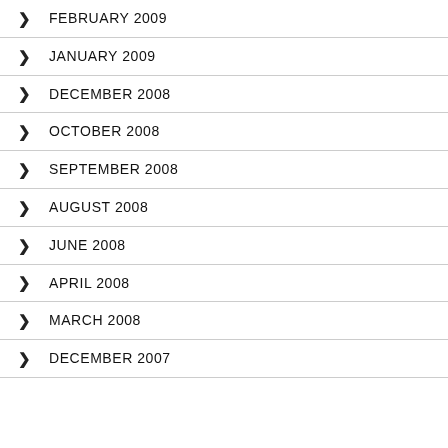FEBRUARY 2009
JANUARY 2009
DECEMBER 2008
OCTOBER 2008
SEPTEMBER 2008
AUGUST 2008
JUNE 2008
APRIL 2008
MARCH 2008
DECEMBER 2007